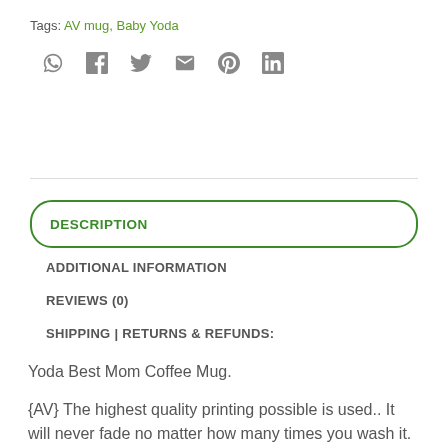Tags: AV mug, Baby Yoda
[Figure (other): Social share icons: WhatsApp, Facebook, Twitter, Email, Pinterest, LinkedIn]
DESCRIPTION
ADDITIONAL INFORMATION
REVIEWS (0)
SHIPPING | RETURNS & REFUNDS:
Yoda Best Mom Coffee Mug.
{AV} The highest quality printing possible is used.. It will never fade no matter how many times you wash it.